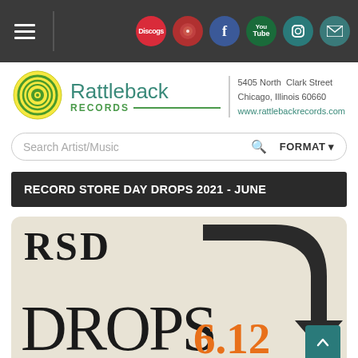Rattleback Records navigation bar with social media icons: Discogs, music, Facebook, YouTube, Instagram, email
[Figure (logo): Rattleback Records logo: circular vinyl record graphic in yellow and green]
Rattleback Records
5405 North Clark Street
Chicago, Illinois 60660
www.rattlebackrecords.com
Search Artist/Music  FORMAT
RECORD STORE DAY DROPS 2021 - JUNE
[Figure (infographic): RSD Drops promotional graphic on beige background. Large bold text reads 'RSD' at top and 'DROPS' below with a large dark arrow pointing down-right. Orange bold text '6.12' in bottom right area.]